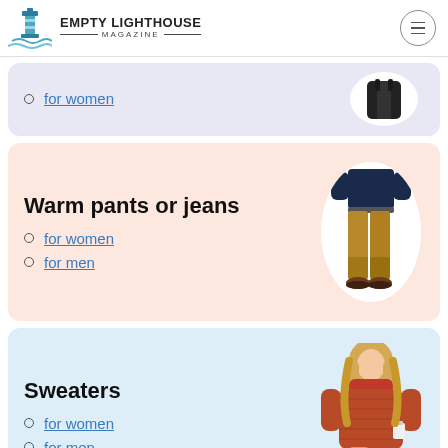Empty Lighthouse Magazine
for women
Warm pants or jeans
for women
for men
Sweaters
for women
for men